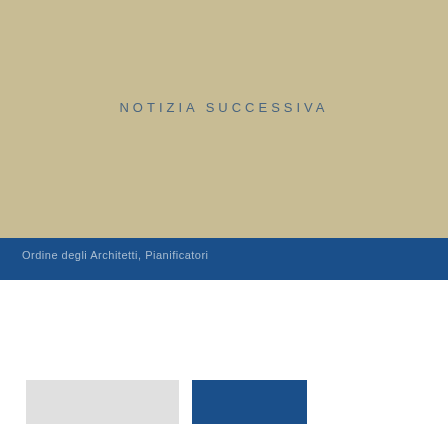[Figure (other): Tan/beige colored background block occupying the upper portion of the page]
NOTIZIA SUCCESSIVA
[Figure (other): Dark blue horizontal bar banner]
Ordine degli Architetti, Pianificatori
[Figure (other): Gray rectangular button element]
[Figure (other): Blue rectangular button element]